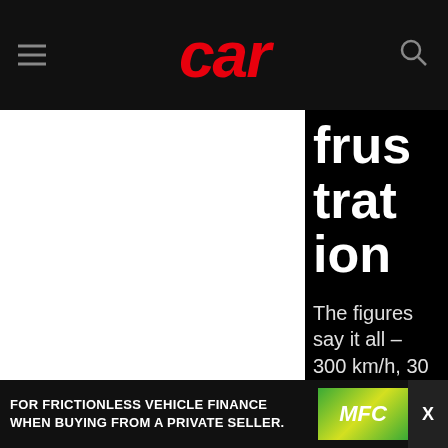car
frustration
The figures say it all – 300 km/h, 30 laps per hour and 3 driver
[Figure (photo): Large white/light area representing a photo of a car or race scene]
FOR FRICTIONLESS VEHICLE FINANCE WHEN BUYING FROM A PRIVATE SELLER. NFC X